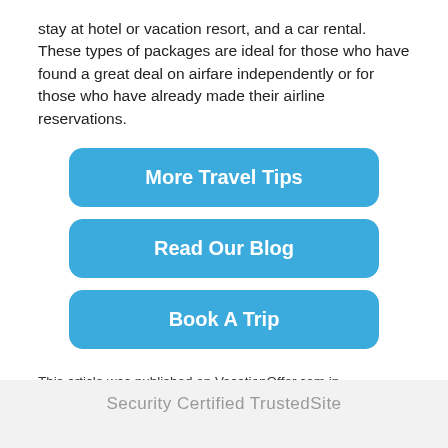stay at hotel or vacation resort, and a car rental. These types of packages are ideal for those who have found a great deal on airfare independently or for those who have already made their airline reservations.
[Figure (other): Three blue rounded rectangle buttons stacked vertically: 'More Travel Tips', 'Read Our Blog', 'Book A Trip']
This article was published on VacationOffer.com in accordance with our Terms of Use & Privacy Policy.
Security Certified TrustedSite